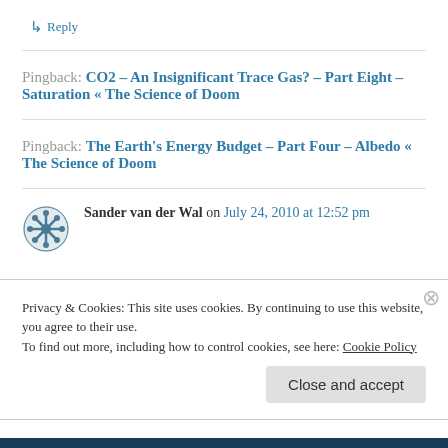↳ Reply
Pingback: CO2 – An Insignificant Trace Gas? – Part Eight – Saturation « The Science of Doom
Pingback: The Earth's Energy Budget – Part Four – Albedo « The Science of Doom
Sander van der Wal on July 24, 2010 at 12:52 pm
Privacy & Cookies: This site uses cookies. By continuing to use this website, you agree to their use.
To find out more, including how to control cookies, see here: Cookie Policy